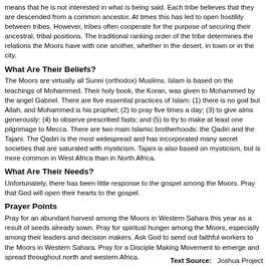means that he is not interested in what is being said. Each tribe believes that they are descended from a common ancestor. At times this has led to open hostility between tribes. However, tribes often cooperate for the purpose of securing their ancestral, tribal positions. The traditional ranking order of the tribe determines the relations the Moors have with one another, whether in the desert, in town or in the city.
What Are Their Beliefs?
The Moors are virtually all Sunni (orthodox) Muslims. Islam is based on the teachings of Mohammed. Their holy book, the Koran, was given to Mohammed by the angel Gabriel. There are five essential practices of Islam: (1) there is no god but Allah, and Mohammed is his prophet; (2) to pray five times a day; (3) to give alms generously; (4) to observe prescribed fasts; and (5) to try to make at least one pilgrimage to Mecca. There are two main Islamic brotherhoods: the Qadiri and the Tajani. The Qadiri is the most widespread and has incorporated many secret societies that are saturated with mysticism. Tajani is also based on mysticism, but is more common in West Africa than in North Africa.
What Are Their Needs?
Unfortunately, there has been little response to the gospel among the Moors. Pray that God will open their hearts to the gospel.
Prayer Points
Pray for an abundant harvest among the Moors in Western Sahara this year as a result of seeds already sown. Pray for spiritual hunger among the Moors, especially among their leaders and decision makers. Ask God to send out faithful workers to the Moors in Western Sahara. Pray for a Disciple Making Movement to emerge and spread throughout north and western Africa.
Text Source:   Joshua Project